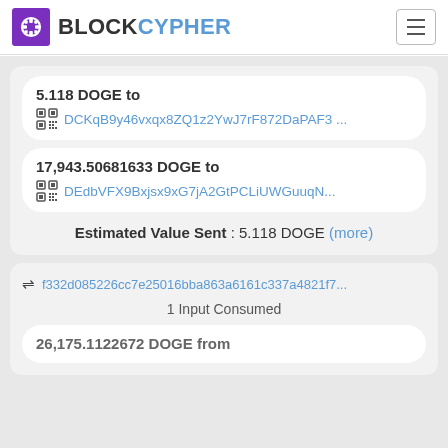BLOCKCYPHER
5.118 DOGE to DCKqB9y46vxqx8ZQ1z2YwJ7rF872DaPAF3 ...
17,943.50681633 DOGE to DEdbVFX9Bxjsx9xG7jA2GtPCLiUWGuuqN...
Estimated Value Sent : 5.118 DOGE (more)
f332d085226cc7e25016bba863a6161c337a4821f7...
1 Input Consumed
26,175.1122672 DOGE from